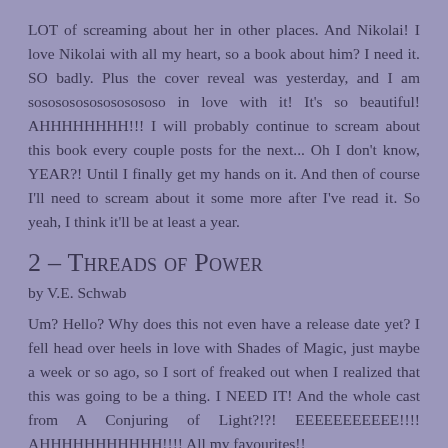LOT of screaming about her in other places. And Nikolai! I love Nikolai with all my heart, so a book about him? I need it. SO badly. Plus the cover reveal was yesterday, and I am sosososososososososo in love with it! It's so beautiful! AHHHHHHHH!!! I will probably continue to scream about this book every couple posts for the next... Oh I don't know, YEAR?! Until I finally get my hands on it. And then of course I'll need to scream about it some more after I've read it. So yeah, I think it'll be at least a year.
2 – Threads of Power
by V.E. Schwab
Um? Hello? Why does this not even have a release date yet? I fell head over heels in love with Shades of Magic, just maybe a week or so ago, so I sort of freaked out when I realized that this was going to be a thing. I NEED IT! And the whole cast from A Conjuring of Light?!?! EEEEEEEEEEE!!!! AHHHHHHHHH!!!! All my favourites!!